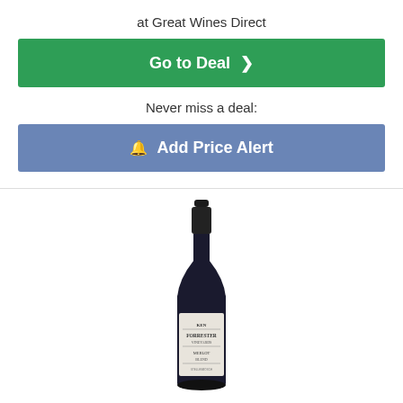at Great Wines Direct
Go to Deal ›
Never miss a deal:
🔔 Add Price Alert
[Figure (photo): A wine bottle with a white label reading Ken Forrester Vineyards Merlot Blend, dark glass bottle with black capsule.]
[Figure (illustration): Five empty star rating icons in a row (outline only, not filled).]